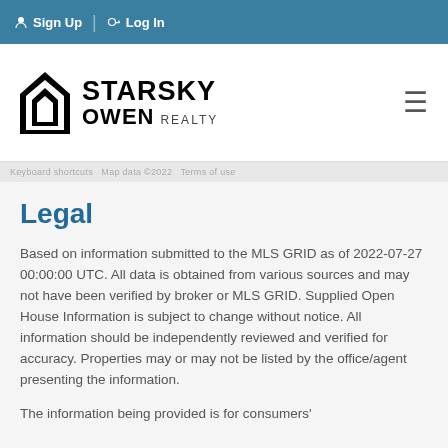Sign Up  Log In
[Figure (logo): Starsky Owen Realty logo with house icon]
Keyboard shortcuts  Map data ©2022  Terms of use
Legal
Based on information submitted to the MLS GRID as of 2022-07-27 00:00:00 UTC. All data is obtained from various sources and may not have been verified by broker or MLS GRID. Supplied Open House Information is subject to change without notice. All information should be independently reviewed and verified for accuracy. Properties may or may not be listed by the office/agent presenting the information.
The information being provided is for consumers'